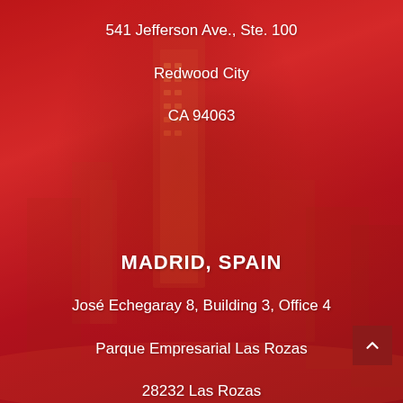541 Jefferson Ave., Ste. 100
Redwood City
CA 94063
MADRID, SPAIN
José Echegaray 8, Building 3, Office 4
Parque Empresarial Las Rozas
28232 Las Rozas
[Figure (illustration): Red-tinted cityscape background with tall skyscraper tower, serving as backdrop for address information]